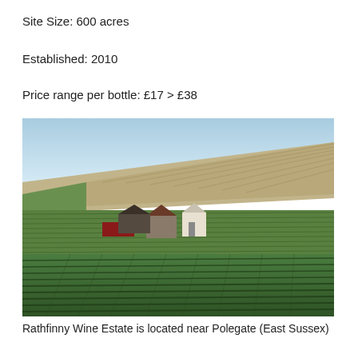Site Size: 600 acres
Established: 2010
Price range per bottle: £17 > £38
[Figure (photo): Aerial/elevated view of a vineyard estate in rolling hills, showing rows of grapevines in the foreground, farm buildings in the middle ground, and ploughed fields on the hillside behind, under a clear blue sky.]
Rathfinny Wine Estate is located near Polegate (East Sussex)